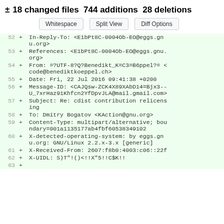± 18 changed files 744 additions 28 deletions
Whitespace  Split View  Diff Options
| line | type | content |
| --- | --- | --- |
| 52 | + | In-Reply-To: <E1bPt8C-0004Ob-EO@eggs.gnu.org> |
| 53 | + | References: <E1bPt8C-0004Ob-EO@eggs.gnu.org> |
| 54 | + | From: =?UTF-8?Q?Benedikt_K=C3=B6ppel?= <code@benediktkoeppel.ch> |
| 55 | + | Date: Fri, 22 Jul 2016 09:41:38 +0200 |
| 56 | + | Message-ID: <CAJQsw-ZCK4X89XAbD14=Bjx3--U_7xrHaz91Khfcn2YfDpvJLA@mail.gmail.com> |
| 57 | + | Subject: Re: cdist contribution relicensing |
| 58 | + | To: Dmitry Bogatov <KAction@gnu.org> |
| 59 | + | Content-Type: multipart/alternative; boundary=001a1135177ab4fbf60538349102 |
| 60 | + | X-detected-operating-system: by eggs.gnu.org: GNU/Linux 2.2.x-3.x [generic] |
| 61 | + | X-Received-From: 2607:f8b0:4003:c06::22f |
| 62 | + | X-UIDL: S)T"!()<!!X"5!!C$K!! |
| 63 | + |  |